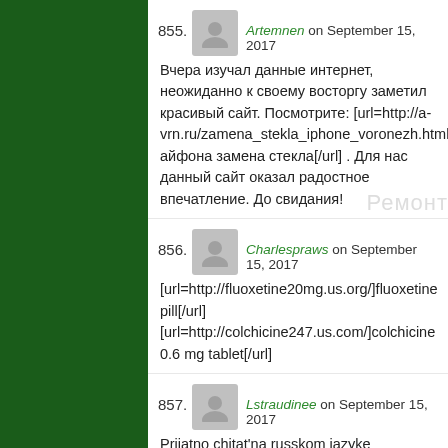355. Artemnen on September 15, 2017 — Вчера изучал данные интернет, неожиданно к своему восторгу заметил красивый сайт. Посмотрите: [url=http://a-vrn.ru/zamena_stekla_iphone_voronezh.html]Ремонт айфона замена стекла[/url] . Для нас данный сайт оказал радостное впечатление. До свидания!
356. Charlespraws on September 15, 2017 — [url=http://fluoxetine20mg.us.org/]fluoxetine pill[/url] [url=http://colchicine247.us.com/]colchicine 0.6 mg tablet[/url]
357. Lstraudinee on September 15, 2017 — Prijatno chitat'na russkom jazyke interesnye i umnye mysli. Uzhe pjat'let v Anglii zhivu. [url=http://scorpaforum.com/index.php?